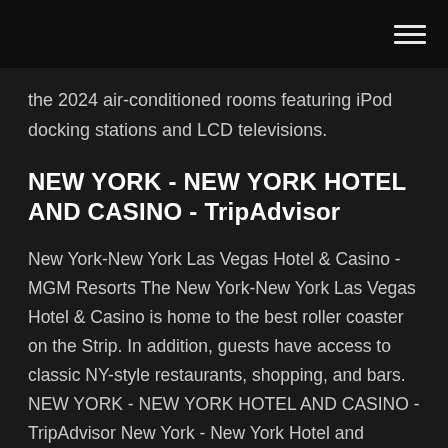the 2024 air-conditioned rooms featuring iPod docking stations and LCD televisions.
NEW YORK - NEW YORK HOTEL AND CASINO - TripAdvisor
New York-New York Las Vegas Hotel & Casino - MGM Resorts The New York-New York Las Vegas Hotel & Casino is home to the best roller coaster on the Strip. In addition, guests have access to classic NY-style restaurants, shopping, and bars. NEW YORK - NEW YORK HOTEL AND CASINO - TripAdvisor New York - New York Hotel and Casino, Las Vegas: See 17,505 traveller reviews, 8,212 photos, and cheap rates for New York - New York Hotel and Casino, ranked #82 of 267 hotels in Las Vegas and rated 4 of 5 at